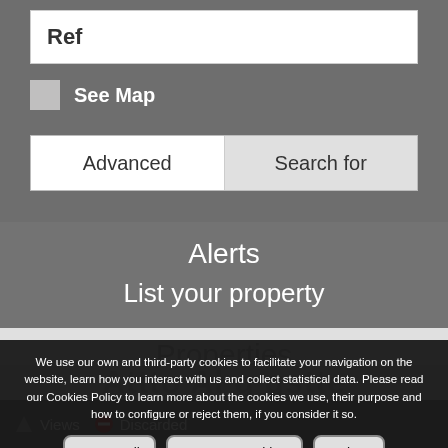Ref
See Map
Advanced
Search for
Alerts
List your property
Properties
We use our own and third-party cookies to facilitate your navigation on the website, learn how you interact with us and collect statistical data. Please read our Cookies Policy to learn more about the cookies we use, their purpose and how to configure or reject them, if you consider it so.
Accept all
Manage Cookies
Reject